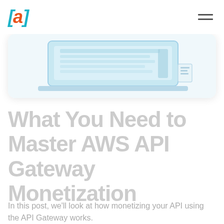[a] (logo) with hamburger menu
[Figure (screenshot): Partial screenshot of a computer/laptop screen showing a web interface, light blue/teal tones, on a white card with rounded corners and shadow]
What You Need to Master AWS API Gateway Monetization
In this post, we'll look at how monetizing your API using the API Gateway works.